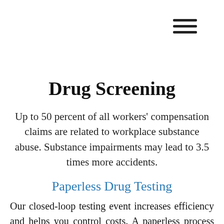[Figure (other): Hamburger menu icon (three horizontal lines) in upper right corner]
Drug Screening
Up to 50 percent of all workers' compensation claims are related to workplace substance abuse. Substance impairments may lead to 3.5 times more accidents.
Paperless Drug Testing
Our closed-loop testing event increases efficiency and helps you control costs. A paperless process helps achieve a 24-hour turnaround for negative